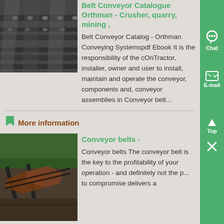[Figure (photo): Close-up photo of metal conveyor belt rollers and components on a conveyor system]
Belt Conveyor Catalogue Orthman - Crusher, quarry, mining ,
Belt Conveyor Catalog - Orthman Conveying Systemspdf Ebook It is the responsibility of the cOnTractor, installer, owner and user to install, maintain and operate the conveyor, components and, conveyor assemblies in Conveyor belt...
More information
[Figure (photo): Aerial photo of conveyor belts in a quarry or mining operation with forested area in background]
Conveyor belts -
Conveyor belts The conveyor belt is the key to the profitability of your operation - and definitely not the p... to compromise delivers a